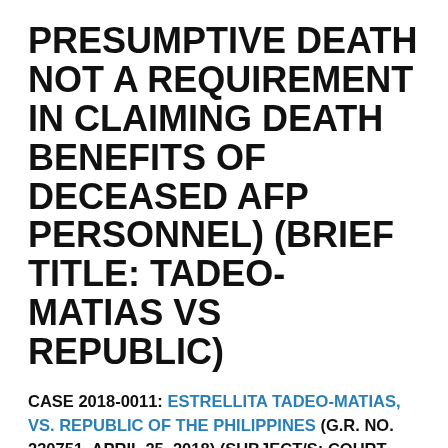PRESUMPTIVE DEATH NOT A REQUIREMENT IN CLAIMING DEATH BENEFITS OF DECEASED AFP PERSONNEL) (BRIEF TITLE: TADEO-MATIAS VS REPUBLIC)
CASE 2018-0011: ESTRELLITA TADEO-MATIAS, VS. REPUBLIC OF THE PHILIPPINES (G.R. NO. 230751. APRIL 25, 2018) (SUBJECT/S: COURT DECLARATION OF PRESUMPTIVE DEATH NOT A REQUIREMENT IN CLAIMING DEATH BENEFITS OF DECEASED AFP PERSONNEL) (BRIEF TITLE: TADEO-MATIAS VS REPUBLIC)